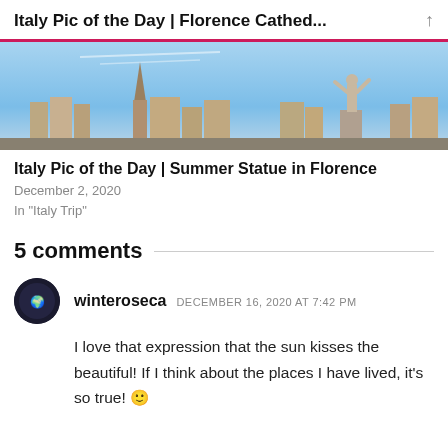Italy Pic of the Day | Florence Cathed...
[Figure (photo): Skyline photo of Florence with a statue and cathedral spires against a blue sky]
Italy Pic of the Day | Summer Statue in Florence
December 2, 2020
In "Italy Trip"
5 comments
winteroseca   DECEMBER 16, 2020 AT 7:42 PM
I love that expression that the sun kisses the beautiful! If I think about the places I have lived, it's so true! 🙂